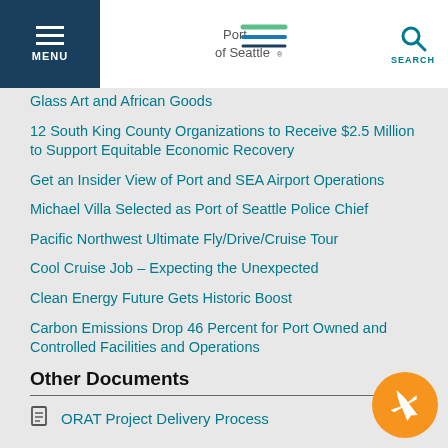MENU | Port of Seattle | SEARCH
Glass Art and African Goods
12 South King County Organizations to Receive $2.5 Million to Support Equitable Economic Recovery
Get an Insider View of Port and SEA Airport Operations
Michael Villa Selected as Port of Seattle Police Chief
Pacific Northwest Ultimate Fly/Drive/Cruise Tour
Cool Cruise Job – Expecting the Unexpected
Clean Energy Future Gets Historic Boost
Carbon Emissions Drop 46 Percent for Port Owned and Controlled Facilities and Operations
Other Documents
ORAT Project Delivery Process